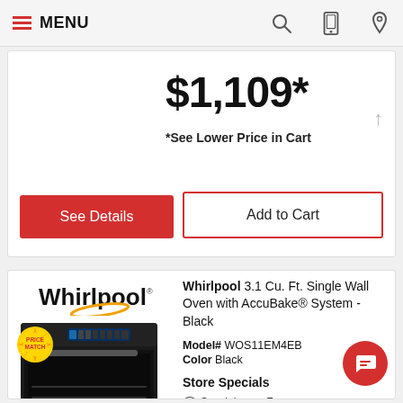MENU
$1,109*
*See Lower Price in Cart
See Details
Add to Cart
[Figure (logo): Whirlpool logo with gold swoosh]
[Figure (photo): Whirlpool black single wall oven]
Whirlpool 3.1 Cu. Ft. Single Wall Oven with AccuBake® System - Black
Model# WOS11EM4EB
Color Black
Store Specials
Special Order :
Free Delivery